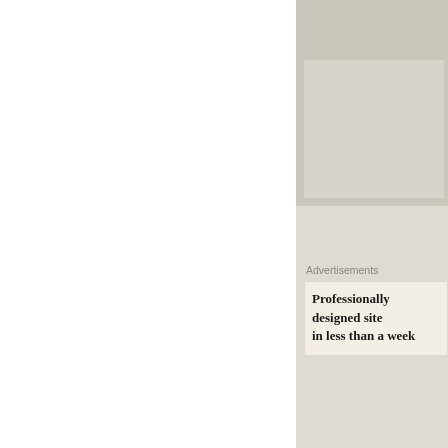[Figure (screenshot): Like button with blue star icon on tan/beige website background]
Advertisements
Professionally designed site in less than a week
[Figure (illustration): Red and white quilt-pattern avatar icon for user Danielle]
Danielle on April 14, 2015 at 10: 😊 When will rykers story com
Privacy & Cookies: This site uses cookies. By continuing to use this website, you agree to their use.
To find out more, including how to control cookies, see here:
Cookie Policy
Close and accept